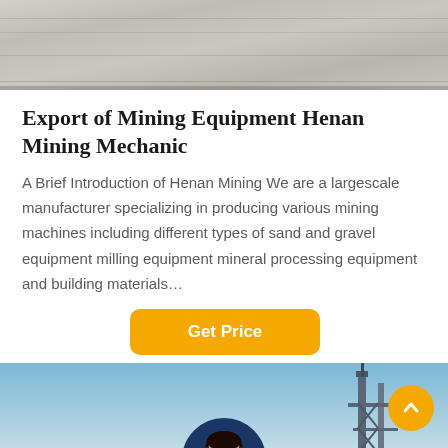[Figure (photo): Gray concrete or asphalt texture with tire tracks, top banner image]
Export of Mining Equipment Henan Mining Mechanic
A Brief Introduction of Henan Mining We are a largescale manufacturer specializing in producing various mining machines including different types of sand and gravel equipment milling equipment mineral processing equipment and building materials…
[Figure (other): Orange 'Get Price' button]
[Figure (photo): Industrial structure/tower against blue sky background with orange scroll-up button, customer service representative avatar, and footer bar with Leave Message and Chat Online buttons]